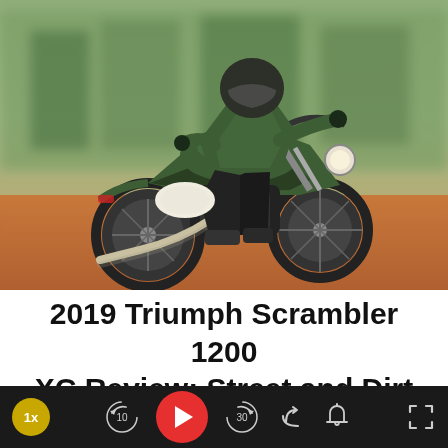[Figure (photo): A motorcyclist riding a Triumph Scrambler 1200 XC on a dirt track. The rider wears a green jacket and dark helmet. The bike is green and silver, in motion with blurred background of dirt and brush.]
2019 Triumph Scrambler 1200 XC Review: Street and Dirt Tested
Triumph has turned the scrambler segment on its head with
[Figure (other): Podcast/audio player bar with yellow progress bar, red dot indicator, playback controls including 1x speed button, rewind 10s, red play button, forward 30s, share button, bell/notification button, and fullscreen button on dark background.]